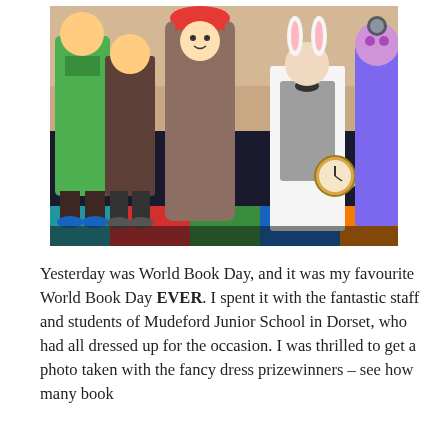[Figure (photo): Group photo of children in fancy dress costumes on a colourful star-patterned carpet. Costumes include a green character, a large pencil costume with a red cap, a child dressed as a white rabbit, a child in a waistcoat and bow tie holding a clock (resembling the White Rabbit from Alice in Wonderland), and a child with a purple painted face. Background shows a school hall.]
Yesterday was World Book Day, and it was my favourite World Book Day EVER. I spent it with the fantastic staff and students of Mudeford Junior School in Dorset, who had all dressed up for the occasion. I was thrilled to get a photo taken with the fancy dress prizewinners – see how many book